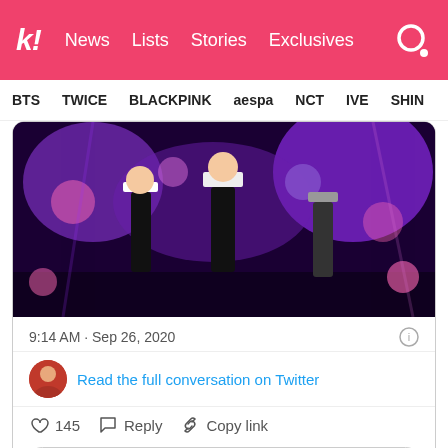k! News  Lists  Stories  Exclusives
BTS  TWICE  BLACKPINK  aespa  NCT  IVE  SHINee
[Figure (screenshot): Screenshot of a tweet showing performers on a stage with purple and pink lighting, wearing black and white outfits. Timestamp reads 9:14 AM · Sep 26, 2020. Shows a Twitter avatar, 'Read the full conversation on Twitter' link, 145 likes, Reply button, Copy link button, and 'Read 1 reply' button.]
12. Jennie (BLACKPINK)